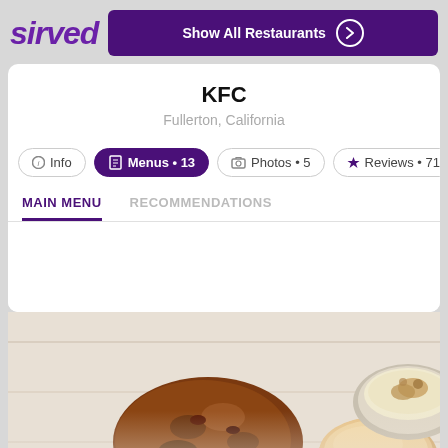[Figure (logo): Sirved logo in purple italic bold text]
Show All Restaurants
KFC
Fullerton, California
i  Info
Menus • 13
Photos • 5
Reviews • 71
MAIN MENU
RECOMMENDATIONS
[Figure (photo): KFC food photo showing fried chicken, biscuit, and mashed potatoes in a bowl]